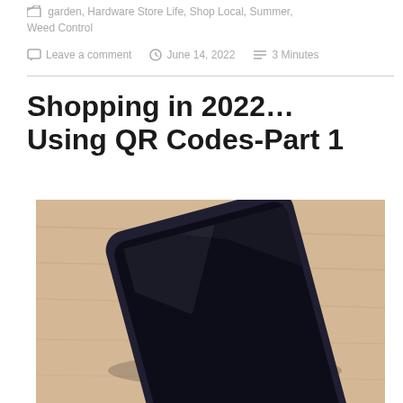garden, Hardware Store Life, Shop Local, Summer, Weed Control
Leave a comment   June 14, 2022   3 Minutes
Shopping in 2022… Using QR Codes-Part 1
[Figure (photo): A dark smartphone lying on a wooden surface, photographed from above at a slight angle, showing the black screen and dark metal/glass body of the device.]